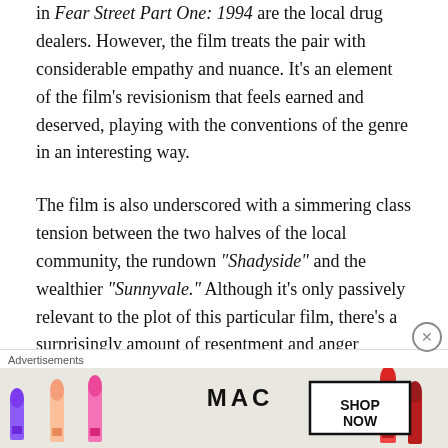in Fear Street Part One: 1994 are the local drug dealers. However, the film treats the pair with considerable empathy and nuance. It's an element of the film's revisionism that feels earned and deserved, playing with the conventions of the genre in an interesting way.
The film is also underscored with a simmering class tension between the two halves of the local community, the rundown "Shadyside" and the wealthier "Sunnyvale." Although it's only passively relevant to the plot of this particular film, there's a surprisingly amount of resentment and anger simmering through the community. Deena and Samantha's relationship was derailed by Samantha's
[Figure (illustration): MAC cosmetics advertisement showing lipsticks (purple, peach, pink, red) with MAC logo and SHOP NOW button]